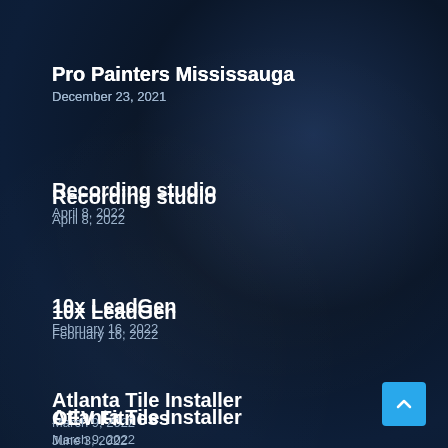Pro Painters Mississauga
December 23, 2021
Recording studio
April 8, 2022
10x LeadGen
February 16, 2022
Atlanta Tile Installer
March 9, 2022
OEV Fitness
June 3, 2022